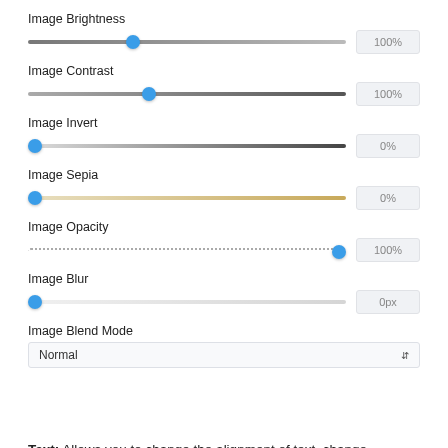Image Brightness
[Figure (other): Slider control for Image Brightness at ~35% position, value box showing 100%]
Image Contrast
[Figure (other): Slider control for Image Contrast at ~40% position, value box showing 100%]
Image Invert
[Figure (other): Slider control for Image Invert at 0% position (left), value box showing 0%]
Image Sepia
[Figure (other): Slider control for Image Sepia at 0% position (left), value box showing 0%]
Image Opacity
[Figure (other): Dotted slider control for Image Opacity at 100% position (right), value box showing 100%]
Image Blur
[Figure (other): Slider control for Image Blur at 0% position (left), value box showing 0px]
Image Blend Mode
[Figure (other): Dropdown select showing 'Normal' with arrow icon]
Text: Allows you to change the alignment of text, change